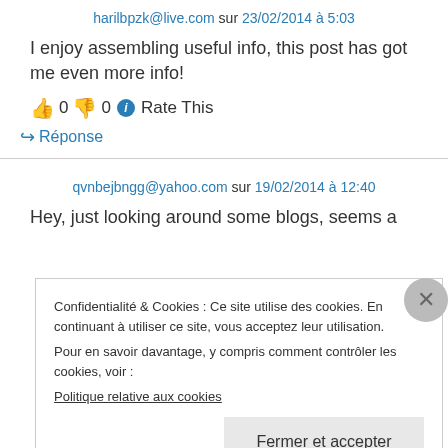harilbpzk@live.com sur 23/02/2014 à 5:03
I enjoy assembling useful info, this post has got me even more info!
👍 0 👎 0 ℹ Rate This
↪ Réponse
qvnbejbngg@yahoo.com sur 19/02/2014 à 12:40
Hey, just looking around some blogs, seems a
Confidentialité & Cookies : Ce site utilise des cookies. En continuant à utiliser ce site, vous acceptez leur utilisation.
Pour en savoir davantage, y compris comment contrôler les cookies, voir :
Politique relative aux cookies
Fermer et accepter